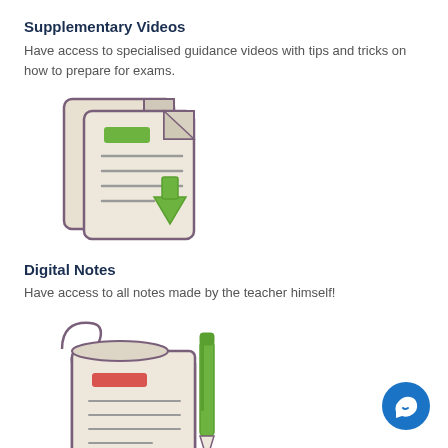Supplementary Videos
Have access to specialised guidance videos with tips and tricks on how to prepare for exams.
[Figure (illustration): Two overlapping document icons with lines representing text and a green rectangle, with a green downward arrow indicating download.]
Digital Notes
Have access to all notes made by the teacher himself!
[Figure (illustration): A scroll/notepad icon with a red rectangle at top and horizontal lines, alongside a green pen/pencil icon.]